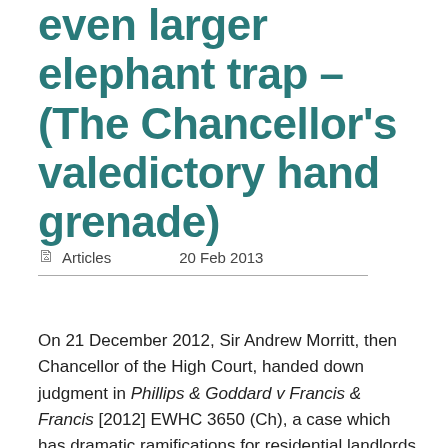even larger elephant trap – (The Chancellor's valedictory hand grenade)
Articles   20 Feb 2013
On 21 December 2012, Sir Andrew Morritt, then Chancellor of the High Court, handed down judgment in Phillips & Goddard v Francis & Francis [2012] EWHC 3650 (Ch), a case which has dramatic ramifications for residential landlords and managing agents. The state of the legislation and its most recent judicial interpreta”